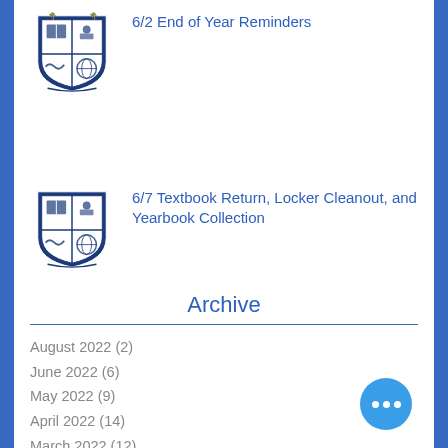[Figure (logo): School crest/shield logo with palm trees and blue shield, first instance]
6/2 End of Year Reminders
[Figure (logo): School crest/shield logo with palm trees and blue shield, second instance]
6/7 Textbook Return, Locker Cleanout, and Yearbook Collection
Archive
August 2022 (2)
June 2022 (6)
May 2022 (9)
April 2022 (14)
March 2022 (12)
February 2022 (9)
January 2022 (11)